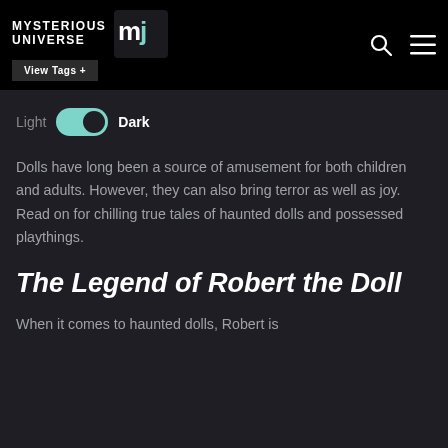MYSTERIOUS UNIVERSE — View Tags +
[Figure (logo): Mysterious Universe logo with MU monogram icon in teal/white, search icon and hamburger menu icon on the right]
Light  Dark  (toggle switch)
Dolls have long been a source of amusement for both children and adults. However, they can also bring terror as well as joy. Read on for chilling true tales of haunted dolls and possessed playthings.
The Legend of Robert the Doll
When it comes to haunted dolls, Robert is